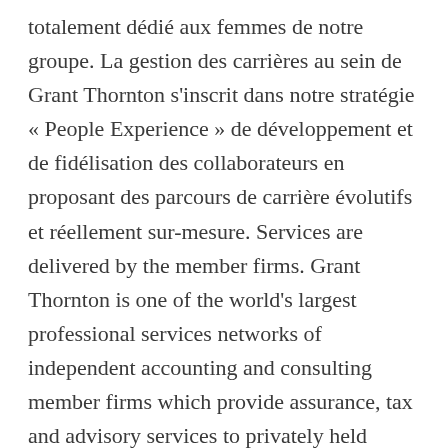totalement dédié aux femmes de notre groupe. La gestion des carrières au sein de Grant Thornton s'inscrit dans notre stratégie « People Experience » de développement et de fidélisation des collaborateurs en proposant des parcours de carrière évolutifs et réellement sur-mesure. Services are delivered by the member firms. Grant Thornton is one of the world's largest professional services networks of independent accounting and consulting member firms which provide assurance, tax and advisory services to privately held businesses, public interest entities, and public sector entities. Grant Thornton U.S. offices With 51 offices nationwide, plus additional support teams, we can deliver you solutions at-speed – wherever you are, whatever the need. Grant Thornton UK LLP is a member firm of Grant Thornton International Ltd (GTIL). Grant